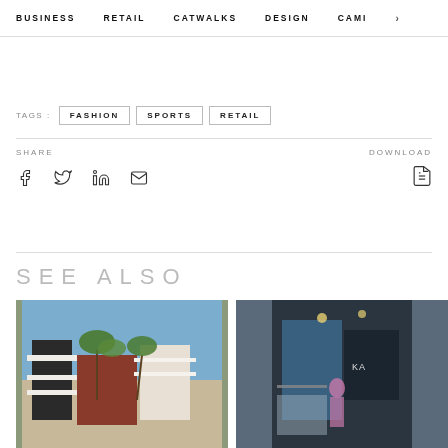BUSINESS   RETAIL   CATWALKS   DESIGN   CAMI  >
TAGS: FASHION  SPORTS  RETAIL
SHARE
DOWNLOAD
SEE ALSO
[Figure (photo): Exterior of a retail shopping center with palm trees and blue sky]
[Figure (photo): Interior of a fashion retail store with blue wall and clothing displays]